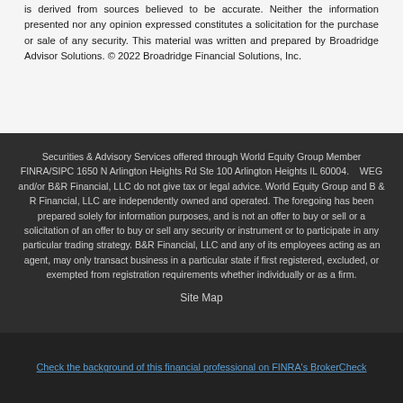is derived from sources believed to be accurate. Neither the information presented nor any opinion expressed constitutes a solicitation for the purchase or sale of any security. This material was written and prepared by Broadridge Advisor Solutions. © 2022 Broadridge Financial Solutions, Inc.
Securities & Advisory Services offered through World Equity Group Member FINRA/SIPC 1650 N Arlington Heights Rd Ste 100 Arlington Heights IL 60004. WEG and/or B&R Financial, LLC do not give tax or legal advice. World Equity Group and B & R Financial, LLC are independently owned and operated. The foregoing has been prepared solely for information purposes, and is not an offer to buy or sell or a solicitation of an offer to buy or sell any security or instrument or to participate in any particular trading strategy. B&R Financial, LLC and any of its employees acting as an agent, may only transact business in a particular state if first registered, excluded, or exempted from registration requirements whether individually or as a firm.
Site Map
Check the background of this financial professional on FINRA's BrokerCheck